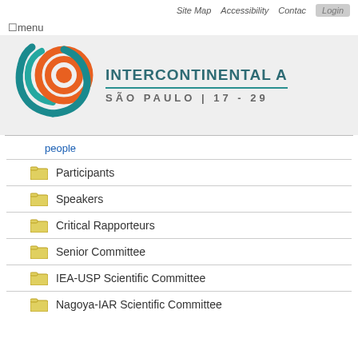Site Map   Accessibility   Contact   Login
☰menu
[Figure (logo): Intercontinental conference logo with concentric teal and orange arcs]
INTERCONTINENTAL A
SÃO PAULO  |  17 - 29
people
Participants
Speakers
Critical Rapporteurs
Senior Committee
IEA-USP Scientific Committee
Nagoya-IAR Scientific Committee